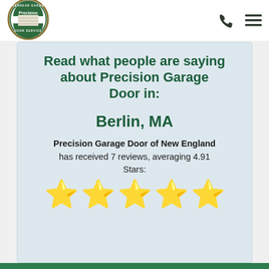[Figure (logo): Precision Door Service logo — circular badge with overhead garage graphic and 'Precision' brand name, 'a neighborly company' tagline]
Read what people are saying about Precision Garage Door in:
Berlin, MA
Precision Garage Door of New England has received 7 reviews, averaging 4.91 Stars:
[Figure (infographic): Five gold star rating icons]